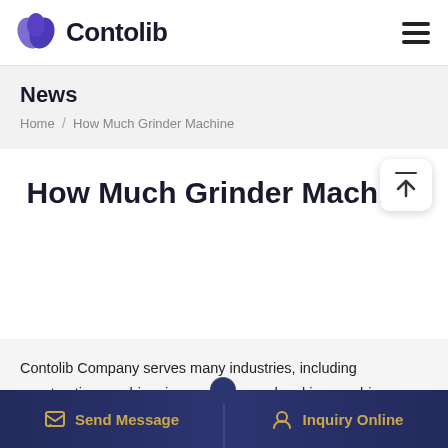Contolib
News
Home / How Much Grinder Machine
How Much Grinder Machine
Contolib Company serves many industries, including construction crushing: jaw crusher, sand making machine; Industrial milling: ultrafine grinding mill, Raymond mill; Ore
Send Message  Inquiry Online